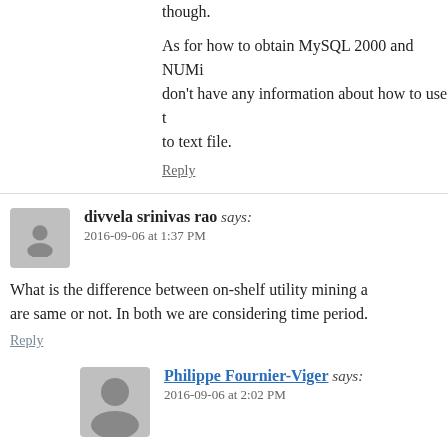Note that these two datasets have utility values though.
As for how to obtain MySQL 2000 and NUMi don't have any information about how to use to text file.
Reply
divvela srinivas rao says:
2016-09-06 at 1:37 PM
What is the difference between on-shelf utility mining are same or not. In both we are considering time period.
Reply
Philippe Fournier-Viger says:
2016-09-06 at 2:02 PM